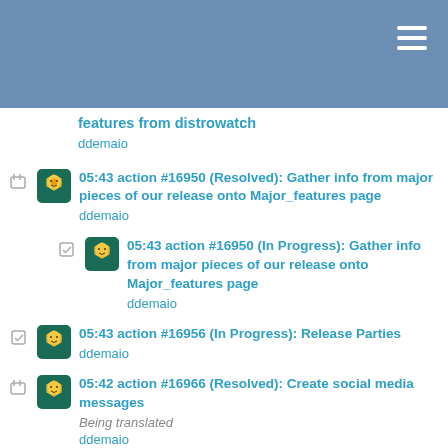features from distrowatch
ddemaio
05:43 action #16950 (Resolved): Gather info from major pieces of our release onto Major_features page
ddemaio
05:43 action #16950 (In Progress): Gather info from major pieces of our release onto Major_features page
ddemaio
05:43 action #16956 (In Progress): Release Parties
ddemaio
05:42 action #16966 (Resolved): Create social media messages
Being translated
ddemaio